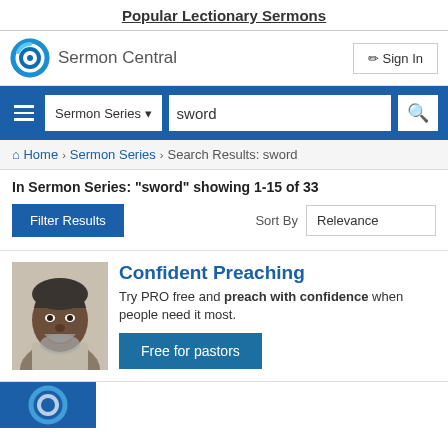Popular Lectionary Sermons
[Figure (logo): Sermon Central logo - blue circle icon with white curved lines]
Sermon Central
Sign In
Sermon Series  sword
Home > Sermon Series > Search Results: sword
In Sermon Series: "sword" showing 1-15 of 33
Filter Results
Sort By  Relevance
[Figure (photo): Portrait photo of a smiling African-American man with short grey hair and beard]
Confident Preaching
Try PRO free and preach with confidence when people need it most.
Free for pastors
[Figure (logo): Partial blue square with Sermon Central logo visible at bottom of page]